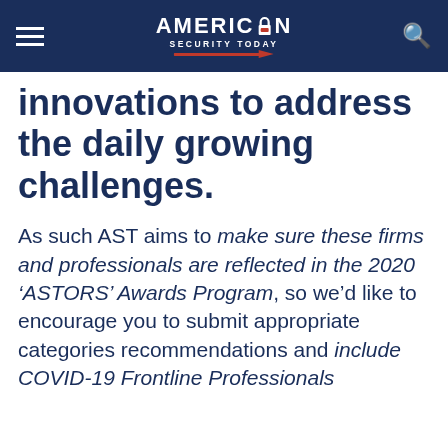AMERICAN SECURITY TODAY
innovations to address the daily growing challenges.
As such AST aims to make sure these firms and professionals are reflected in the 2020 ‘ASTORS’ Awards Program, so we’d like to encourage you to submit appropriate categories recommendations and include COVID-19 Frontline Professionals